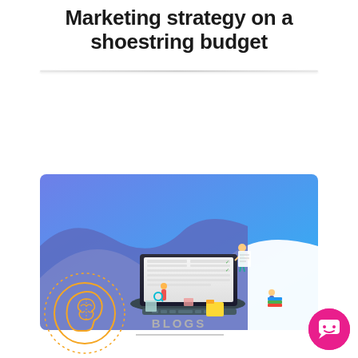Marketing strategy on a shoestring budget
[Figure (illustration): Isometric illustration of people working around a large laptop with a checklist/spreadsheet on the screen, on a blue gradient background with white wave shapes]
[Figure (illustration): Orange circular brain/head icon logo with dotted circle border]
BLOGS
[Figure (illustration): Hot pink circular chat/messaging button with smiley face icon]